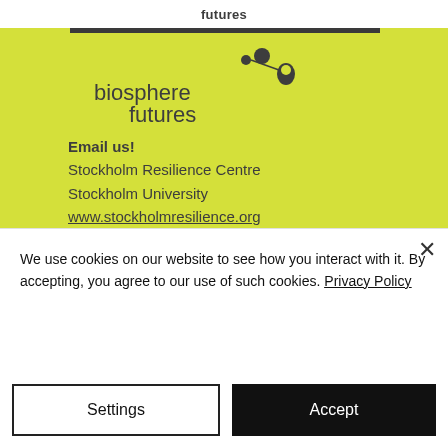futures
[Figure (logo): Biosphere Futures logo with decorative circular elements on a yellow-green background, text reads 'biosphere futures']
Email us!
Stockholm Resilience Centre
Stockholm University
www.stockholmresilience.org
Twitter
biospherefuture
Youtube
biosphere futures
We use cookies on our website to see how you interact with it. By accepting, you agree to our use of such cookies. Privacy Policy
Settings
Accept